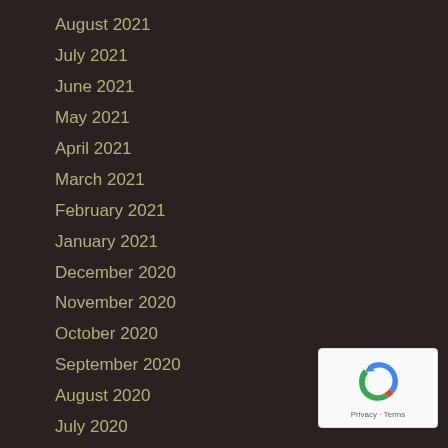August 2021
July 2021
June 2021
May 2021
April 2021
March 2021
February 2021
January 2021
December 2020
November 2020
October 2020
September 2020
August 2020
July 2020
June 2020
May 2020
April 2020
[Figure (logo): reCAPTCHA badge with circular arrow icon and Privacy - Terms text]